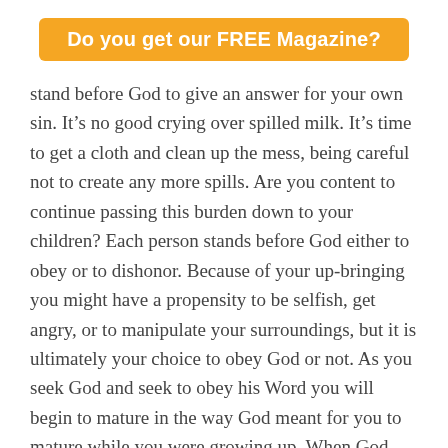Do you get our FREE Magazine?
stand before God to give an answer for your own sin. It’s no good crying over spilled milk. It’s time to get a cloth and clean up the mess, being careful not to create any more spills. Are you content to continue passing this burden down to your children? Each person stands before God either to obey or to dishonor. Because of your up-bringing you might have a propensity to be selfish, get angry, or to manipulate your surroundings, but it is ultimately your choice to obey God or not. As you seek God and seek to obey his Word you will begin to mature in the way God meant for you to mature while you were growing up. When God says in his Word for the woman to